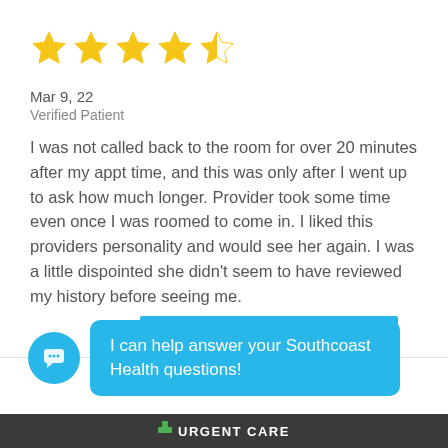[Figure (other): 4.5 out of 5 stars rating displayed as yellow star icons]
Mar 9, 22
Verified Patient
I was not called back to the room for over 20 minutes after my appt time, and this was only after I went up to ask how much longer. Provider took some time even once I was roomed to come in. I liked this providers personality and would see her again. I was a little dispointed she didn't seem to have reviewed my history before seeing me.
I can help answer your Southcoast Health questions!
URGENT CARE